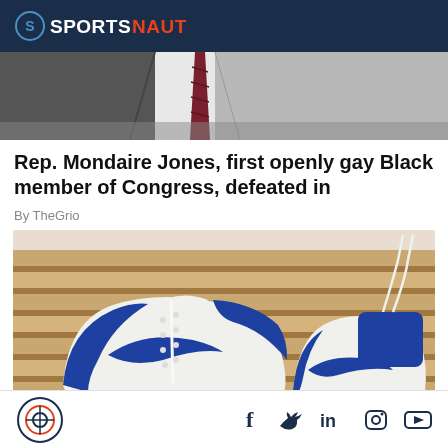SPORTSNAUT
[Figure (photo): Close-up photo of a person wearing a suit with a dark red/maroon tie, grayscale tones]
Rep. Mondaire Jones, first openly gay Black member of Congress, defeated in
By TheGrio
[Figure (photo): White and blue Nike high-top sneakers resting on a wooden slatted bench/shelf]
Sportsnaut logo and social media icons: Facebook, Twitter, LinkedIn, Instagram, YouTube